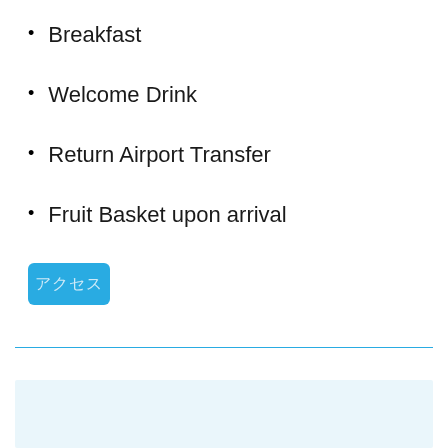Breakfast
Welcome Drink
Return Airport Transfer
Fruit Basket upon arrival
[Figure (other): Blue rounded button with Japanese/Chinese characters in light blue text]
[Figure (other): Horizontal teal/blue divider line]
[Figure (other): Light blue rectangular box at bottom of page]